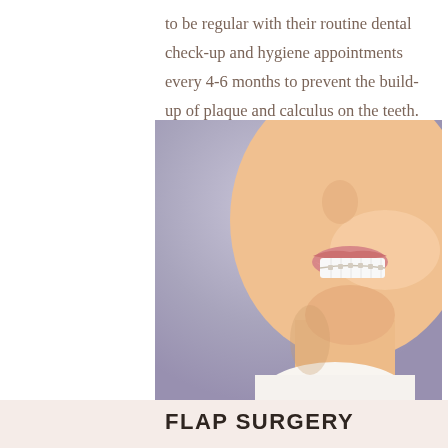to be regular with their routine dental check-up and hygiene appointments every 4-6 months to prevent the build-up of plaque and calculus on the teeth.
[Figure (photo): Close-up photo of a woman smiling showing white teeth with dental braces/retainer, against a soft lavender-grey background.]
FLAP SURGERY